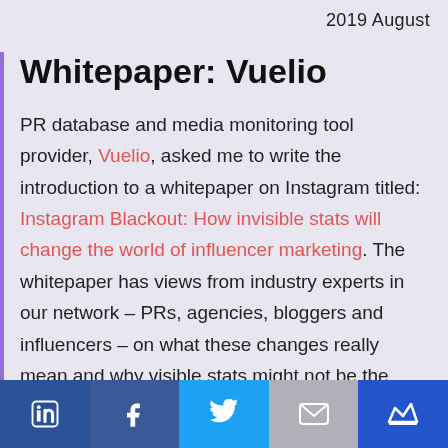2019 August
Whitepaper: Vuelio
PR database and media monitoring tool provider, Vuelio, asked me to write the introduction to a whitepaper on Instagram titled: Instagram Blackout: How invisible stats will change the world of influencer marketing. The whitepaper has views from industry experts in our network – PRs, agencies, bloggers and influencers – on what these changes really mean and why visible stats might not be the right